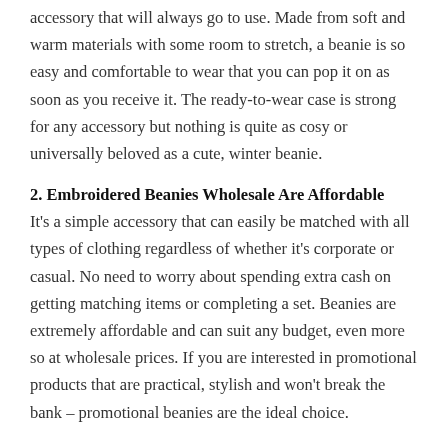accessory that will always go to use. Made from soft and warm materials with some room to stretch, a beanie is so easy and comfortable to wear that you can pop it on as soon as you receive it. The ready-to-wear case is strong for any accessory but nothing is quite as cosy or universally beloved as a cute, winter beanie.
2. Embroidered Beanies Wholesale Are Affordable
It's a simple accessory that can easily be matched with all types of clothing regardless of whether it's corporate or casual. No need to worry about spending extra cash on getting matching items or completing a set. Beanies are extremely affordable and can suit any budget, even more so at wholesale prices. If you are interested in promotional products that are practical, stylish and won't break the bank – promotional beanies are the ideal choice.